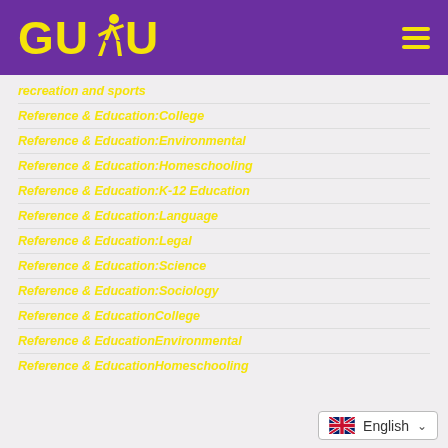GUDU (logo with runner icon) — navigation header with hamburger menu
recreation and sports
Reference & Education:College
Reference & Education:Environmental
Reference & Education:Homeschooling
Reference & Education:K-12 Education
Reference & Education:Language
Reference & Education:Legal
Reference & Education:Science
Reference & Education:Sociology
Reference & EducationCollege
Reference & EducationEnvironmental
Reference & EducationHomeschooling
English (language selector)